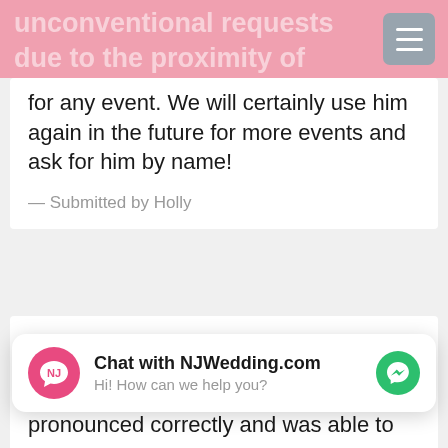unconventional requests due to the proximity of the ceremony venue vs. the reception area. I highly recommend him for any event. We will certainly use him again in the future for more events and ask for him by name!
— Submitted by Holly
★★★★★
Great entertainment
Ryan and Chris were a great entertainment duo for our wedding. They mixed a great variety of music genres that kept all ages on their feet.
Chat with NJWedding.com
Hi! How can we help you?
pronounced correctly and was able to